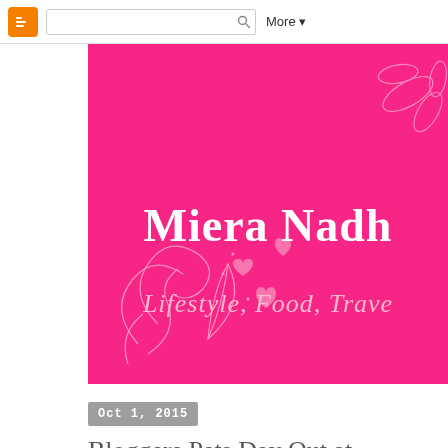Blogger navigation bar with search box and More menu
[Figure (illustration): Pink blog banner with white bold serif text 'Miera Nadh' and italic subtitle 'Lifestyle, Food, Trave...' with decorative floral/heart line art on left side and top right corner]
Oct 1, 2015
Bloggers Pets Day Out at PetsMore